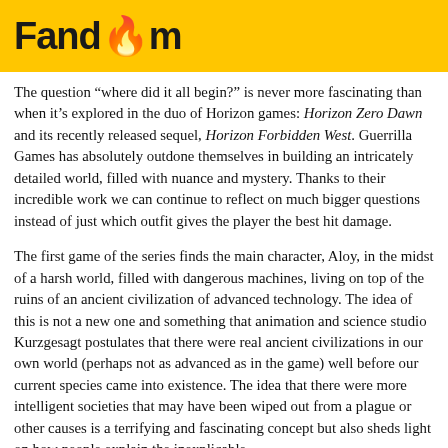Fandom
The question “where did it all begin?” is never more fascinating than when it’s explored in the duo of Horizon games: Horizon Zero Dawn and its recently released sequel, Horizon Forbidden West. Guerrilla Games has absolutely outdone themselves in building an intricately detailed world, filled with nuance and mystery. Thanks to their incredible work we can continue to reflect on much bigger questions instead of just which outfit gives the player the best hit damage.
The first game of the series finds the main character, Aloy, in the midst of a harsh world, filled with dangerous machines, living on top of the ruins of an ancient civilization of advanced technology. The idea of this is not a new one and something that animation and science studio Kurzgesagt postulates that there were real ancient civilizations in our own world (perhaps not as advanced as in the game) well before our current species came into existence. The idea that there were more intelligent societies that may have been wiped out from a plague or other causes is a terrifying and fascinating concept but also sheds light on how people explain the inexplicable.
At the start of the Horizon games, the world has reverted to a